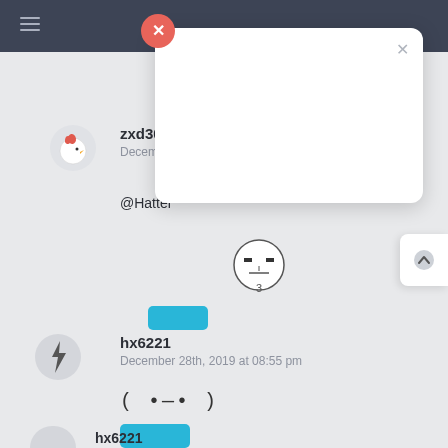[Figure (screenshot): Chat interface screenshot showing a modal popup with a red X close button and grey X button, overlaying a chat conversation. Messages from zxd3014779200 dated December 29th 2019 at 06:52 pm mentioning @Hatter with a troll face reaction emoji (count 3), and messages from hx6221 dated December 28th 2019 at 08:55 pm with emoticon ( •—• ) and a blue button. Navigation bar at top with hamburger menu.]